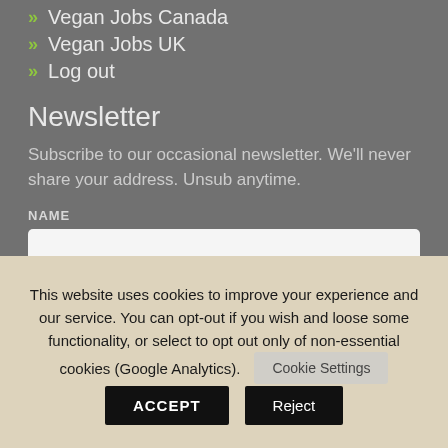» Vegan Jobs Canada
» Vegan Jobs UK
» Log out
Newsletter
Subscribe to our occasional newsletter. We'll never share your address. Unsub anytime.
NAME
This website uses cookies to improve your experience and our service. You can opt-out if you wish and loose some functionality, or select to opt out only of non-essential cookies (Google Analytics).
Cookie Settings
ACCEPT
Reject